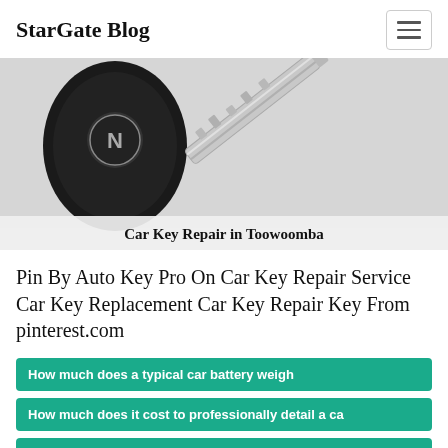StarGate Blog
[Figure (photo): Photo of a Nissan car key fob with a flip key blade, on a light gray background. Caption reads 'Car Key Repair in Toowoomba'.]
Pin By Auto Key Pro On Car Key Repair Service Car Key Replacement Car Key Repair Key From pinterest.com
How much does a typical car battery weigh
How much does it cost to professionally detail a ca
How many volts and amps is a car battery